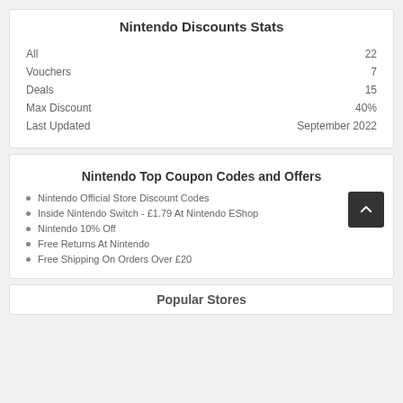Nintendo Discounts Stats
| Label | Value |
| --- | --- |
| All | 22 |
| Vouchers | 7 |
| Deals | 15 |
| Max Discount | 40% |
| Last Updated | September 2022 |
Nintendo Top Coupon Codes and Offers
Nintendo Official Store Discount Codes
Inside Nintendo Switch - £1.79 At Nintendo EShop
Nintendo 10% Off
Free Returns At Nintendo
Free Shipping On Orders Over £20
Popular Stores